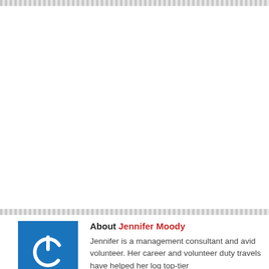[Figure (illustration): Top decorative zigzag/chevron border pattern in gray]
[Figure (illustration): Bottom decorative zigzag/chevron border pattern in gray]
[Figure (logo): Blue square with white power/on button icon (circle with vertical line at top)]
About Jennifer Moody
Jennifer is a management consultant and avid volunteer. Her career and volunteer duty travels have helped her log top-tier